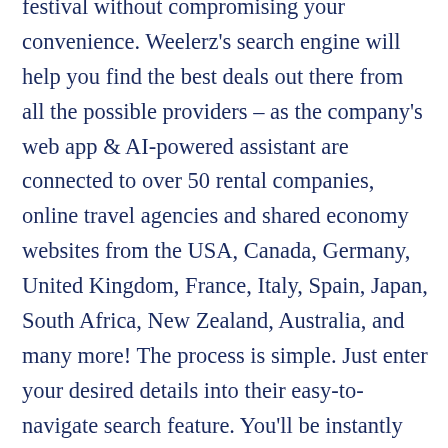festival without compromising your convenience. Weelerz's search engine will help you find the best deals out there from all the possible providers – as the company's web app & AI-powered assistant are connected to over 50 rental companies, online travel agencies and shared economy websites from the USA, Canada, Germany, United Kingdom, France, Italy, Spain, Japan, South Africa, New Zealand, Australia, and many more! The process is simple. Just enter your desired details into their easy-to-navigate search feature. You'll be instantly directed to the best deal that meets your needs, as well as other attractive deals for keen comparison before signing on the dotted line.